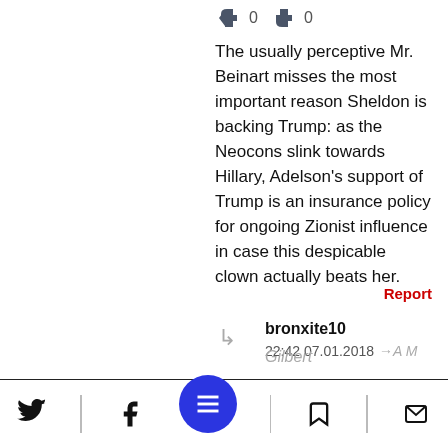👍 0  👎 0
The usually perceptive Mr. Beinart misses the most important reason Sheldon is backing Trump: as the Neocons slink towards Hillary, Adelson's support of Trump is an insurance policy for ongoing Zionist influence in case this despicable clown actually beats her.
Report
bronxite10  22:42 07.01.2018  →A M Gilbert
👍 0  👎 0
If Adelson were focused on continued support for Israel, he'd be giving money to Hillary, but Dermer and N...bu have so drunk the